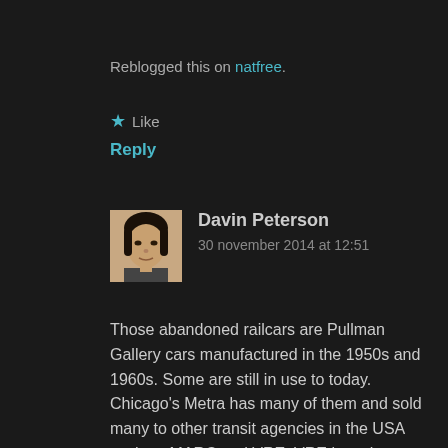Reblogged this on natfree.
★ Like
Reply
[Figure (photo): Avatar photo of Davin Peterson, a man with dark hair]
Davin Peterson
30 november 2014 at 12:51
Those abandoned railcars are Pullman Gallery cars manufactured in the 1950s and 1960s. Some are still in use to today. Chicago's Metra has many of them and sold many to other transit agencies in the USA such as MARC and VRE. VRE has since purchased brand new gallery cars. http://www.vre.org/service/cartypes.htm